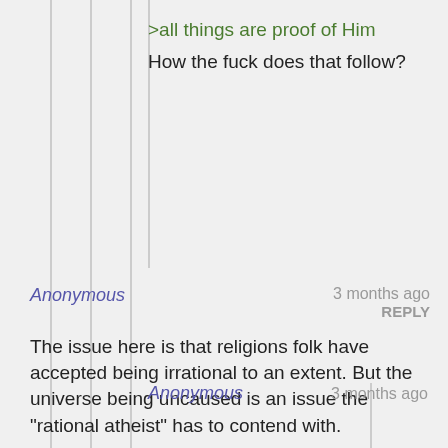>all things are proof of Him
How the fuck does that follow?
Anonymous   3 months ago
REPLY

The issue here is that religions folk have accepted being irrational to an extent. But the universe being uncaused is an issue the "rational atheist" has to contend with.
Anonymous   3 months ago